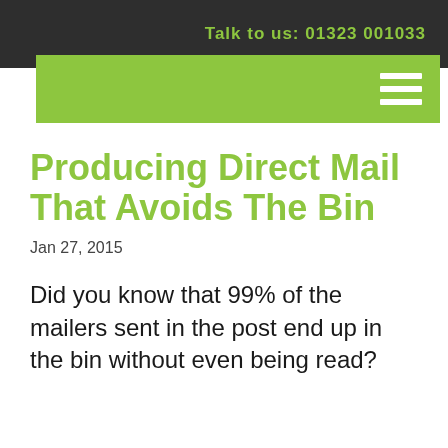Talk to us: 01323 001033
Producing Direct Mail That Avoids The Bin
Jan 27, 2015
Did you know that 99% of the mailers sent in the post end up in the bin without even being read?